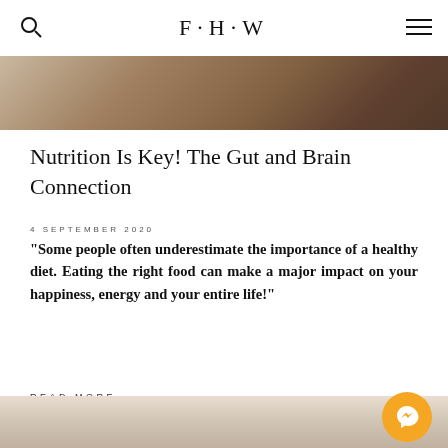F·H·W
[Figure (photo): Hero image showing food on a kitchen counter, warm tones]
Nutrition Is Key! The Gut and Brain Connection
4 SEPTEMBER 2020
"Some people often underestimate the importance of a healthy diet. Eating the right food can make a major impact on your happiness, energy and your entire life!"
READ MORE
[Figure (photo): Bottom partial photo showing a person with blonde hair]